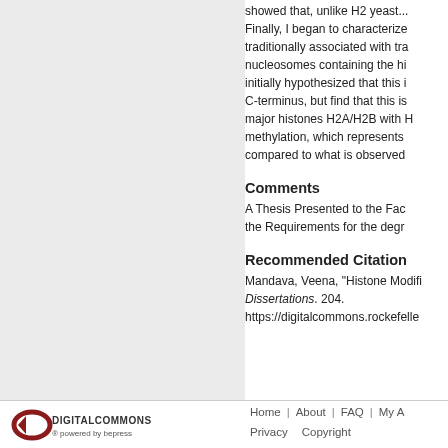showed that, unlike H2 yeast... Finally, I began to characterize traditionally associated with tra nucleosomes containing the hi initially hypothesized that this i C-terminus, but find that this is major histones H2A/H2B with H methylation, which represents compared to what is observed
Comments
A Thesis Presented to the Fac the Requirements for the degr
Recommended Citation
Mandava, Veena, "Histone Modifi Dissertations. 204. https://digitalcommons.rockefelle
Home | About | FAQ | My A Privacy Copyright